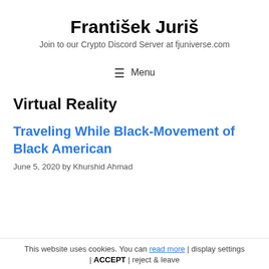František Juriš
Join to our Crypto Discord Server at fjuniverse.com
☰ Menu
Virtual Reality
Traveling While Black-Movement of Black American
June 5, 2020 by Khurshid Ahmad
This website uses cookies. You can read more | display settings | ACCEPT | reject & leave